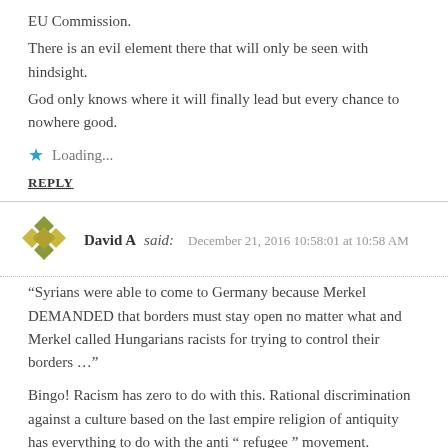EU Commission.
There is an evil element there that will only be seen with hindsight.
God only knows where it will finally lead but every chance to nowhere good.
Loading...
REPLY
David A said: December 21, 2016 10:58:01 at 10:58 AM
“Syrians were able to come to Germany because Merkel DEMANDED that borders must stay open no matter what and Merkel called Hungarians racists for trying to control their borders …”
Bingo! Racism has zero to do with this. Rational discrimination against a culture based on the last empire religion of antiquity has everything to do with the anti “ refugee ” movement.
Loading...